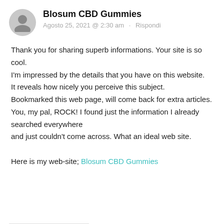Blosum CBD Gummies
Agosto 25, 2021 @ 2:30 am · Rispondi
Thank you for sharing superb informations. Your site is so cool.
I'm impressed by the details that you have on this website.
It reveals how nicely you perceive this subject.
Bookmarked this web page, will come back for extra articles.
You, my pal, ROCK! I found just the information I already searched everywhere
and just couldn't come across. What an ideal web site.

Here is my web-site; Blosum CBD Gummies